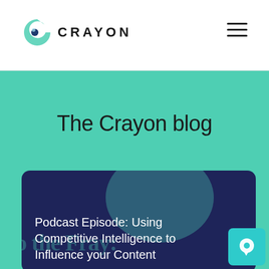[Figure (logo): Crayon logo with circular 'C' icon and text CRAYON]
The Crayon blog
[Figure (screenshot): Blog post card with dark navy background, teal circle decoration, faint 'the Fray' background text, and white overlay title text reading: Podcast Episode: Using Competitive Intelligence to Influence your Content]